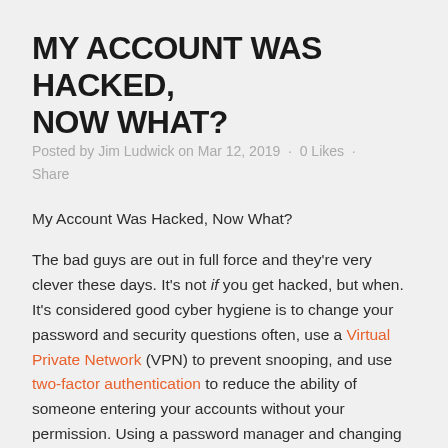MY ACCOUNT WAS HACKED, NOW WHAT?
Posted by Jim Ludwick on Mar 12, 2019 · 0 Likes · Share
My Account Was Hacked, Now What?
The bad guys are out in full force and they're very clever these days. It's not if you get hacked, but when. It's considered good cyber hygiene is to change your password and security questions often, use a Virtual Private Network (VPN) to prevent snooping, and use two-factor authentication to reduce the ability of someone entering your accounts without your permission. Using a password manager and changing common router generic usernames and passwords are